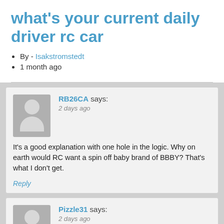what's your current daily driver rc car
By - Isakstromstedt
1 month ago
RB26CA says: 2 days ago It's a good explanation with one hole in the logic. Why on earth would RC want a spin off baby brand of BBBY? That's what I don't get.
Reply
Pizzle31 says: 2 days ago Who are some of the most passionate